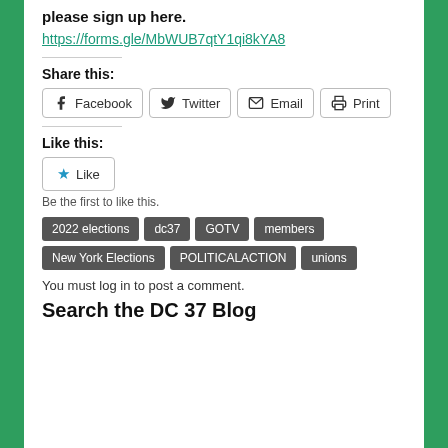please sign up here.
https://forms.gle/MbWUB7qtY1qi8kYA8
Share this:
Facebook  Twitter  Email  Print
Like this:
Like
Be the first to like this.
2022 elections
dc37
GOTV
members
New York Elections
POLITICALACTION
unions
You must log in to post a comment.
Search the DC 37 Blog